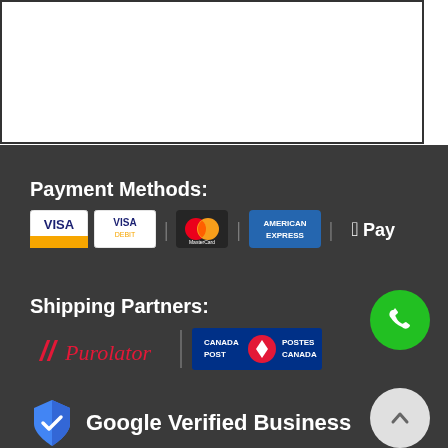[Figure (other): White box with border at top of page]
Payment Methods:
[Figure (logo): Payment method logos: Visa, Visa Debit, MasterCard, American Express, Apple Pay]
Shipping Partners:
[Figure (logo): Shipping partner logos: Purolator and Canada Post / Postes Canada]
[Figure (logo): Google Verified Business badge with blue shield checkmark icon]
Google Verified Business